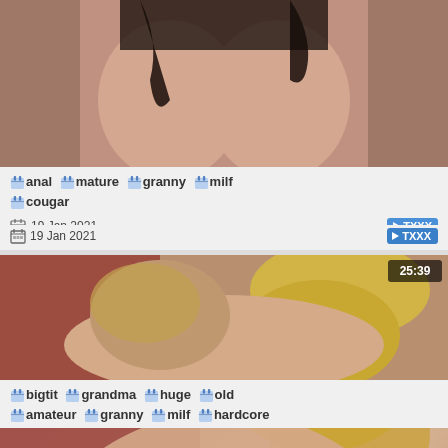[Figure (photo): Video thumbnail – partial torso in dark top, cropped at top]
🏷 anal 🏷 mature 🏷 granny 🏷 milf 🏷 cougar
19 Jan 2021   ▶ TXXX
[Figure (photo): Video thumbnail – blonde woman, duration 25:39]
🏷 bigtit 🏷 grandma 🏷 huge 🏷 old 🏷 amateur 🏷 granny 🏷 milf 🏷 hardcore
25 Mar 2021   ▶ PornHub
[Figure (photo): Video thumbnail – partial, duration 08:39, cropped at bottom]